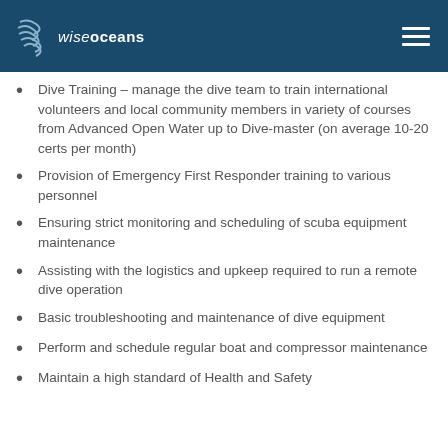wiseoceans
Dive Training – manage the dive team to train international volunteers and local community members in variety of courses from Advanced Open Water up to Dive-master (on average 10-20 certs per month)
Provision of Emergency First Responder training to various personnel
Ensuring strict monitoring and scheduling of scuba equipment maintenance
Assisting with the logistics and upkeep required to run a remote dive operation
Basic troubleshooting and maintenance of dive equipment
Perform and schedule regular boat and compressor maintenance
Maintain a high standard of Health and Safety